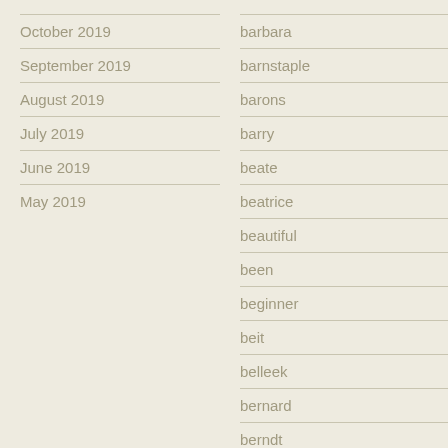October 2019
September 2019
August 2019
July 2019
June 2019
May 2019
barbara
barnstaple
barons
barry
beate
beatrice
beautiful
been
beginner
beit
belleek
bernard
berndt
betty
bill